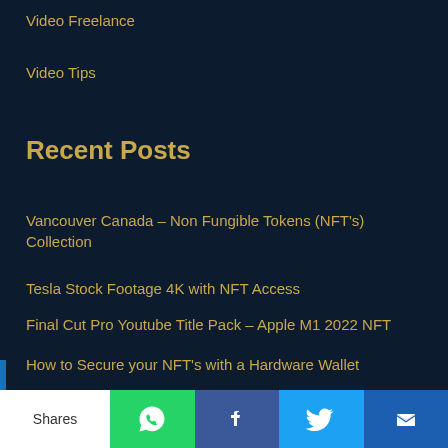Video Freelance
Video Tips
Recent Posts
Vancouver Canada – Non Fungible Tokens (NFT's) Collection
Tesla Stock Footage 4K with NFT Access
Final Cut Pro Youtube Title Pack – Apple M1 2022 NFT
How to Secure your NFT's with a Hardware Wallet
Unlock our Mexico Stock Footage Collection using Cryptocurrency (NFT)
Shares